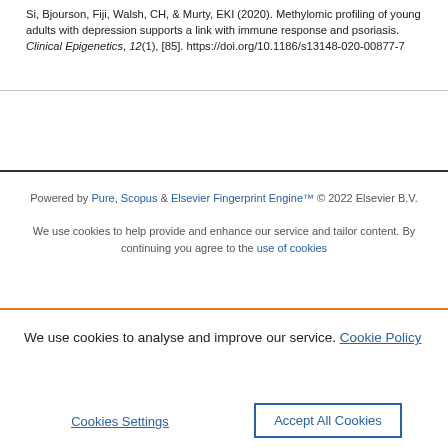Si, Bjourson, Fiji, Walsh, CH, & Murty, EKI (2020). Methylomic profiling of young adults with depression supports a link with immune response and psoriasis. Clinical Epigenetics, 12(1), [85]. https://doi.org/10.1186/s13148-020-00877-7
Powered by Pure, Scopus & Elsevier Fingerprint Engine™ © 2022 Elsevier B.V.
We use cookies to help provide and enhance our service and tailor content. By continuing you agree to the use of cookies
We use cookies to analyse and improve our service. Cookie Policy
Cookies Settings | Accept All Cookies